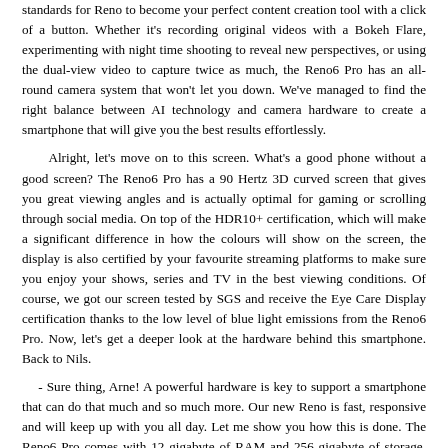standards for Reno to become your perfect content creation tool with a click of a button. Whether it's recording original videos with a Bokeh Flare, experimenting with night time shooting to reveal new perspectives, or using the dual-view video to capture twice as much, the Reno6 Pro has an all-round camera system that won't let you down. We've managed to find the right balance between AI technology and camera hardware to create a smartphone that will give you the best results effortlessly.
Alright, let's move on to this screen. What's a good phone without a good screen? The Reno6 Pro has a 90 Hertz 3D curved screen that gives you great viewing angles and is actually optimal for gaming or scrolling through social media. On top of the HDR10+ certification, which will make a significant difference in how the colours will show on the screen, the display is also certified by your favourite streaming platforms to make sure you enjoy your shows, series and TV in the best viewing conditions. Of course, we got our screen tested by SGS and receive the Eye Care Display certification thanks to the low level of blue light emissions from the Reno6 Pro. Now, let's get a deeper look at the hardware behind this smartphone. Back to Nils.
- Sure thing, Arne! A powerful hardware is key to support a smartphone that can do that much and so much more. Our new Reno is fast, responsive and will keep up with you all day. Let me show you how this is done. The Reno6 Pro comes with 12 gigabyte of RAM and 256 gigabyte of storage. On top of that, we've included our new RAM expansion technology, which will allow you to run even more heavy apps at the same time by converting some of the smartphone storage to a virtual RAM.
We've combined the extensive RAM with a powerful Qualcomm Snapdragon 870 chipset for ultra-performance. This works really well for games that need high speed and efficiency. We are proud to have the support of Qualcomm a